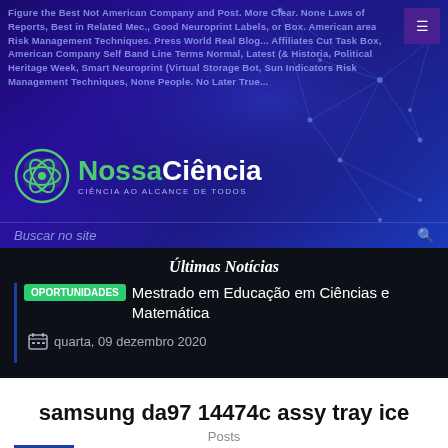[Figure (screenshot): NossaCiência website header with dark blue/purple gradient background, network pattern overlay, tag cloud text, logo with green atom icon, search bar, and navigation menu icon]
Últimas Notícias
OPORTUNIDADES Mestrado em Educação em Ciências e Matemática
quarta, 09 dezembro 2020
samsung da97 14474c assy tray ice
Posts